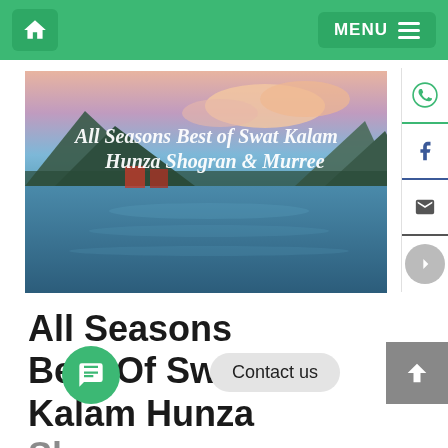Home | MENU
[Figure (photo): Scenic mountain lake with colourful sky, overlaid with cursive text: All Seasons Best of Swat Kalam Hunza Shogran & Murree]
All Seasons
Best Of Swat
Kalam Hunza
Shogran
Murree